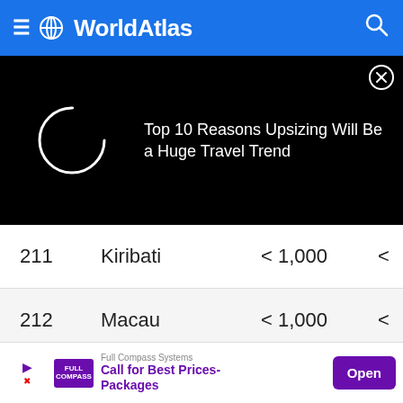WorldAtlas
[Figure (screenshot): Black ad banner with loading spinner (white arc) on left and text 'Top 10 Reasons Upsizing Will Be a Huge Travel Trend' on right, with close button (X in circle)]
| # | Country | Value |  |
| --- | --- | --- | --- |
| 211 | Kiribati | < 1,000 | < |
| 212 | Macau | < 1,000 | < |
| 213 | Marshall Islands | < 1,000 | < |
| 214 | Martinique | < 1,000 | < |
|  | Monaco | < 1,000 | < |
[Figure (screenshot): Bottom advertisement banner: Full Compass Systems - Call for Best Prices-Packages, with purple Open button]